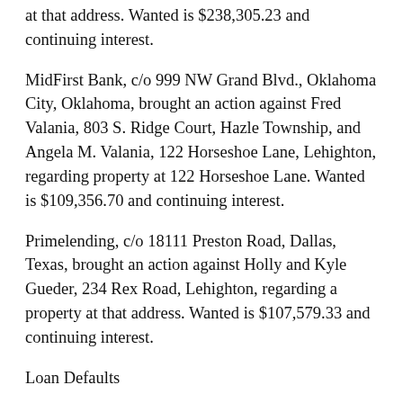at that address. Wanted is $238,305.23 and continuing interest.
MidFirst Bank, c/o 999 NW Grand Blvd., Oklahoma City, Oklahoma, brought an action against Fred Valania, 803 S. Ridge Court, Hazle Township, and Angela M. Valania, 122 Horseshoe Lane, Lehighton, regarding property at 122 Horseshoe Lane. Wanted is $109,356.70 and continuing interest.
Primelending, c/o 18111 Preston Road, Dallas, Texas, brought an action against Holly and Kyle Gueder, 234 Rex Road, Lehighton, regarding a property at that address. Wanted is $107,579.33 and continuing interest.
Loan Defaults
First Commonwealth Federal Credit Union, 6126 Hamilton Blvd., Allentown, filed suit against Michael Eugene Brunell Jr., 260 Winter Mountain Road, Lehighton, alleging he breached a loan and security agreement for the purchase of two motor vehicles.